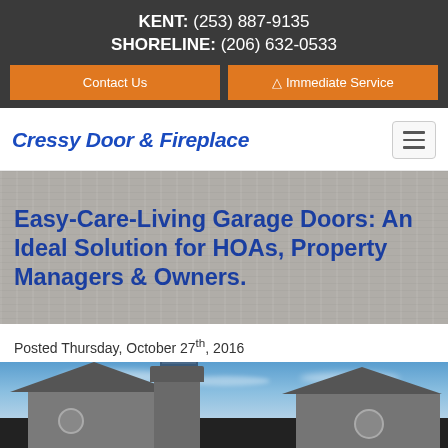KENT: (253) 887-9135
SHORELINE: (206) 632-0533
Cressy Door & Fireplace
Easy-Care-Living Garage Doors: An Ideal Solution for HOAs, Property Managers & Owners.
Posted Thursday, October 27th, 2016
[Figure (photo): Photo of two garage door structures with a blue sky background]